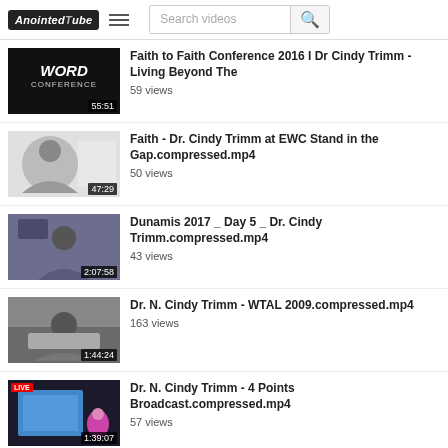AnointedTube — Search videos
Faith to Faith Conference 2016 I Dr Cindy Trimm - Living Beyond The — 59 views — 55:51
Faith - Dr. Cindy Trimm at EWC Stand in the Gap.compressed.mp4 — 50 views — 47:29
Dunamis 2017 _ Day 5 _ Dr. Cindy Trimm.compressed.mp4 — 43 views — 2:07:58
Dr. N. Cindy Trimm - WTAL 2009.compressed.mp4 — 163 views — 1:44:24
Dr. N. Cindy Trimm - 4 Points Broadcast.compressed.mp4 — 57 views — 1:39:07
Dr. Cindy Trimm speaking at the Royal Beauty